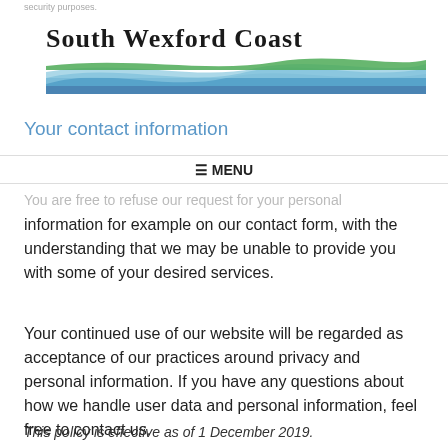security purposes.
[Figure (logo): South Wexford Coast logo with wave graphic in blue and green]
Your contact information
≡ MENU
You are free to refuse our request for your personal information for example on our contact form, with the understanding that we may be unable to provide you with some of your desired services.
Your continued use of our website will be regarded as acceptance of our practices around privacy and personal information. If you have any questions about how we handle user data and personal information, feel free to contact us.
This policy is effective as of 1 December 2019.